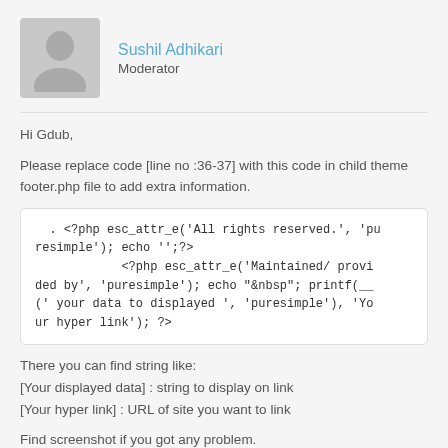Sushil Adhikari
Moderator
Hi Gdub,
Please replace code [line no :36-37] with this code in child theme footer.php file to add extra information.
. <?php esc_attr_e('All rights reserved.', 'puresimple'); echo '';?>
            <?php esc_attr_e('Maintained/ provided by', 'puresimple'); echo "&nbsp"; printf(__(' your data to displayed ', 'puresimple'), 'Your hyper link'); ?>
There you can find string like:
[Your displayed data] : string to display on link
[Your hyper link] : URL of site you want to link
Find screenshot if you got any problem.